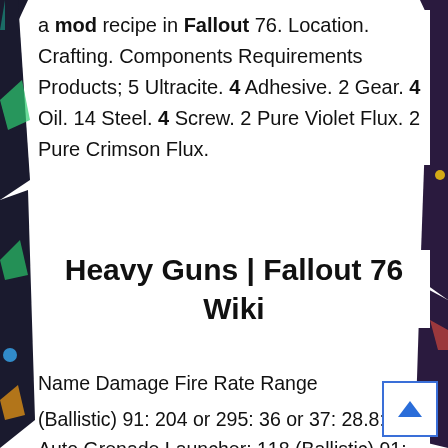a mod recipe in Fallout 76. Location. Crafting. Components Requirements Products; 5 Ultracite. 4 Adhesive. 2 Gear. 4 Oil. 14 Steel. 4 Screw. 2 Pure Violet Flux. 2 Pure Crimson Flux.
Heavy Guns | Fallout 76 Wiki
Name Damage Fire Rate Range Accuracy Weight Value; 50 Cal Machine Gun: 18 (Ballistic) 91: 204 or 295: 36 or 37: 28.8: 183: Auto Grenade Launcher: 118 (Ballistic) 91: